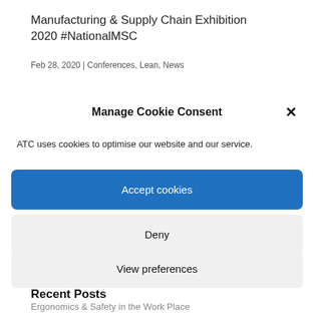Manufacturing & Supply Chain Exhibition 2020 #NationalMSC
Feb 28, 2020 | Conferences, Lean, News
Manage Cookie Consent
ATC uses cookies to optimise our website and our service.
Accept cookies
Deny
View preferences
Recent Posts
Ergonomics & Safety in the Work Place
Bespoke Industrial Storage Rack Design